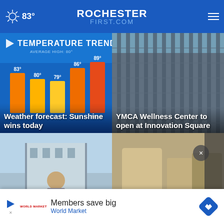83° ROCHESTER FIRST.COM
[Figure (screenshot): Weather forecast bar chart showing temperature trend with bars labeled 83°, 80°, 79°, 86°, 89° with Sun and Mon labels]
Weather forecast: Sunshine wins today
[Figure (photo): Looking up at a tall modern skyscraper building facade with vertical stripes]
YMCA Wellness Center to open at Innovation Square
[Figure (photo): Person standing outside a building, partially visible]
[Figure (photo): Close-up of industrial equipment or pipes]
Members save big
World Market